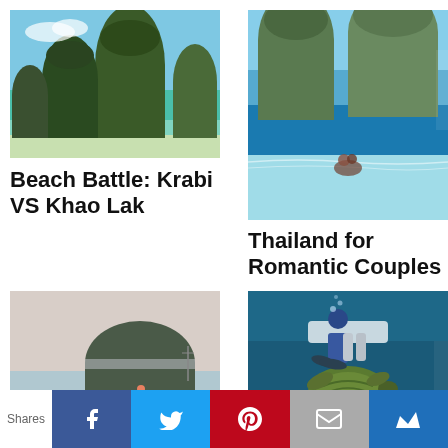[Figure (photo): Aerial view of limestone karsts and turquoise water at Krabi, Thailand]
Beach Battle: Krabi VS Khao Lak
[Figure (photo): Couple standing in clear shallow water with large rock formations in background in Thailand]
Thailand for Romantic Couples
[Figure (photo): Two people walking on a beach with a hill island in the background]
Thailand for Retirees
[Figure (photo): Scuba diver swimming with a sea turtle underwater in Thailand]
Liveaboard Diving Safaris in Thailand